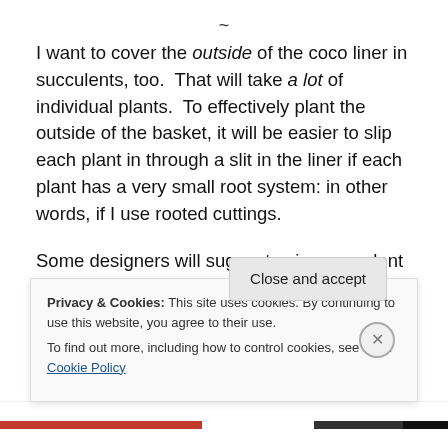~
I want to cover the outside of the coco liner in succulents, too.  That will take a lot of individual plants.  To effectively plant the outside of the basket, it will be easier to slip each plant in through a slit in the liner if each plant has a very small root system: in other words, if I use rooted cuttings.
Some designers will suggest using succulent stem cuttings and allowing them to root in place.  This would
Privacy & Cookies: This site uses cookies. By continuing to use this website, you agree to their use.
To find out more, including how to control cookies, see here: Cookie Policy
Close and accept